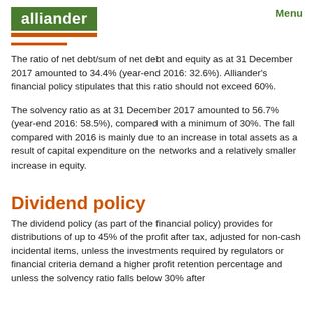alliander  Menu
The ratio of net debt/sum of net debt and equity as at 31 December 2017 amounted to 34.4% (year-end 2016: 32.6%). Alliander's financial policy stipulates that this ratio should not exceed 60%.
The solvency ratio as at 31 December 2017 amounted to 56.7% (year-end 2016: 58.5%), compared with a minimum of 30%. The fall compared with 2016 is mainly due to an increase in total assets as a result of capital expenditure on the networks and a relatively smaller increase in equity.
Dividend policy
The dividend policy (as part of the financial policy) provides for distributions of up to 45% of the profit after tax, adjusted for non-cash incidental items, unless the investments required by regulators or financial criteria demand a higher profit retention percentage and unless the solvency ratio falls below 30% after